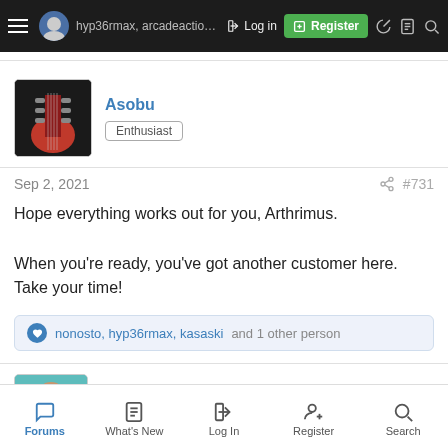hyp36rmax, arcadeaction and xkas... Log in Register
Asobu
Enthusiast
Sep 2, 2021  #731
Hope everything works out for you, Arthrimus.

When you're ready, you've got another customer here. Take your time!
nonosto, hyp36rmax, kasaski and 1 other person
nonosto
Forums  What's New  Log In  Register  Search